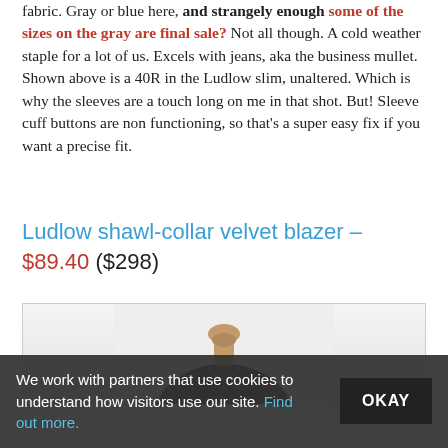fabric. Gray or blue here, and strangely enough some of the sizes on the gray are final sale? Not all though. A cold weather staple for a lot of us. Excels with jeans, aka the business mullet. Shown above is a 40R in the Ludlow slim, unaltered. Which is why the sleeves are a touch long on me in that shot. But! Sleeve cuff buttons are non functioning, so that's a super easy fix if you want a precise fit.
Ludlow shawl-collar velvet blazer – $89.40 ($298)
[Figure (photo): A man wearing a dark velvet shawl-collar blazer over a dark shirt, photographed from neck to chest area on a light background.]
We work with partners that use cookies to understand how visitors use our site. Find out more.